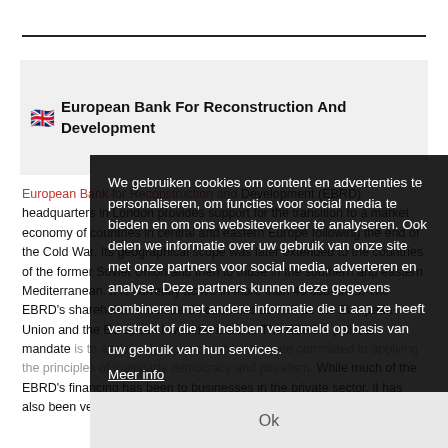European Bank For Reconstruction And Development
European Bank for Reconstruction and Development (EBRD) headquarters in London provides support for the transition to a market economy of countries in central and eastern Europe following the end of the Cold War. Its geographical scope was later extended to the countries of the former Soviet Union and then to those in the southern and eastern Mediterranean. It is currently active in more than 40 countries. The EBRD's shareholders include 65 countries as well as the European Union and the European Investment Bank. The EBRD's political mandate is to assist only those countries that are committed to applying the principles of multiparty democracy and pluralism. While much of the EBRD's financing has been to businesses in the private sector, it has also been very active in supporting
We gebruiken cookies om content en advertenties te personaliseren, om functies voor social media te bieden en om ons websiteverkeer te analyseren. Ook delen we informatie over uw gebruik van onze site met onze partners voor social media, adverteren en analyse. Deze partners kunnen deze gegevens combineren met andere informatie die u aan ze heeft verstrekt of die ze hebben verzameld op basis van uw gebruik van hun services. Meer info Ok